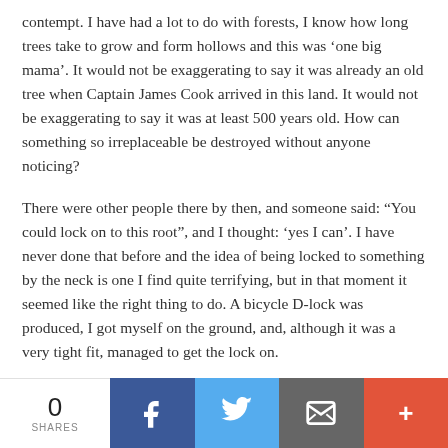contempt. I have had a lot to do with forests, I know how long trees take to grow and form hollows and this was ‘one big mama’. It would not be exaggerating to say it was already an old tree when Captain James Cook arrived in this land. It would not be exaggerating to say it was at least 500 years old. How can something so irreplaceable be destroyed without anyone noticing?
There were other people there by then, and someone said: “You could lock on to this root”, and I thought: ‘yes I can’. I have never done that before and the idea of being locked to something by the neck is one I find quite terrifying, but in that moment it seemed like the right thing to do. A bicycle D-lock was produced, I got myself on the ground, and, although it was a very tight fit, managed to get the lock on.
0 SHARES | Facebook | Twitter | Email | More